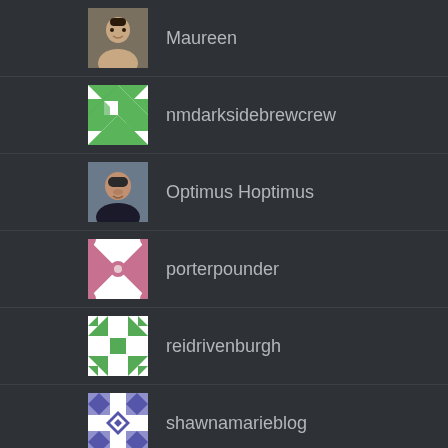Maureen
nmdarksidebrewcrew
Optimus Hoptimus
porterpounder
reidrivenburgh
shawnamarieblog
theshenerd